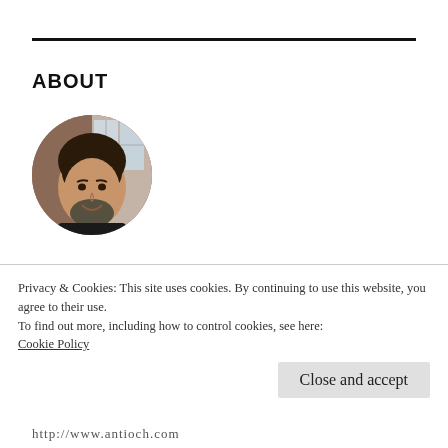ABOUT
[Figure (photo): Circular cropped profile photo of a middle-aged man with dark hair and beard, smiling, wearing a dark jacket, with a brick wall and window in background.]
Following Jesus, loving my family, and enjoying life as I lead Antioch Church, a multi-ethnic,
Privacy & Cookies: This site uses cookies. By continuing to use this website, you agree to their use.
To find out more, including how to control cookies, see here:
Cookie Policy
Close and accept
http://www.antioch.com